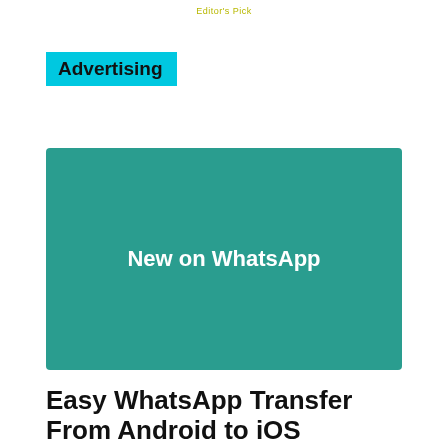Editor's Pick
Advertising
[Figure (illustration): Teal/dark green rectangular image with white bold text reading 'New on WhatsApp' centered in the image.]
Easy WhatsApp Transfer From Android to iOS